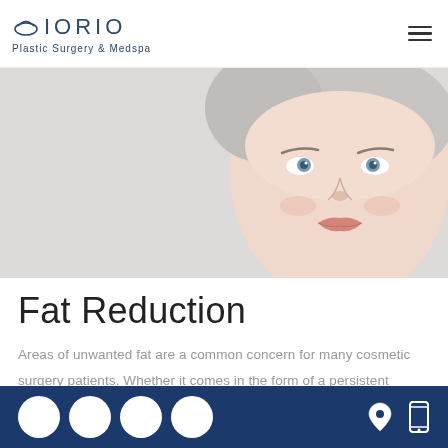IORIO Plastic Surgery & Medspa
[Figure (photo): Hero banner showing a woman's face with light makeup against a gray/white background, cropped to show from forehead to chin]
Fat Reduction
Areas of unwanted fat are a common concern for many cosmetic surgery patients. Whether it comes in the form of a persistent stomach "pooch" after pregnancy or losing a lot of weight, localized fat can
Social media icons, location pin icon, mobile phone icon